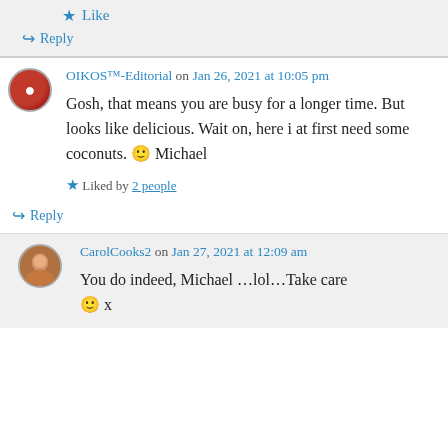Like
Reply
OIKOS™-Editorial on Jan 26, 2021 at 10:05 pm
Gosh, that means you are busy for a longer time. But looks like delicious. Wait on, here i at first need some coconuts. 🙂 Michael
Liked by 2 people
Reply
CarolCooks2 on Jan 27, 2021 at 12:09 am
You do indeed, Michael …lol…Take care 🙂 x